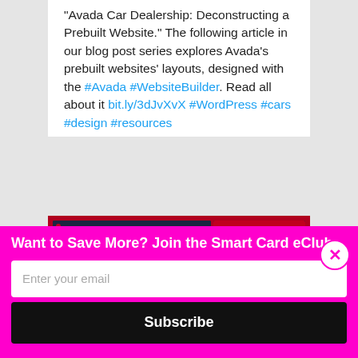"Avada Car Dealership: Deconstructing a Prebuilt Website." The following article in our blog post series explores Avada's prebuilt websites' layouts, designed with the #Avada #WebsiteBuilder. Read all about it bit.ly/3dJvXvX #WordPress #cars #design #resources
[Figure (screenshot): Screenshot preview of Avada Car Dealership prebuilt website showing a dark blue automotive website with red accents, a sports car hero image with 'Dreams Come True' text, and multiple page layout previews]
Want to Save More? Join the Smart Card eClub
Enter your email
Subscribe